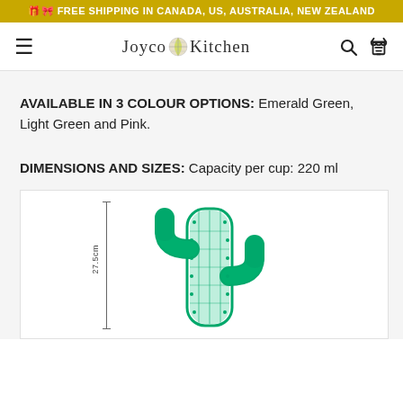🎁🎀 FREE SHIPPING IN CANADA, US, AUSTRALIA, NEW ZEALAND
[Figure (logo): Joyco Kitchen logo with lemon slice icon]
AVAILABLE IN 3 COLOUR OPTIONS: Emerald Green, Light Green and Pink.
DIMENSIONS AND SIZES: Capacity per cup: 220 ml
[Figure (photo): Cactus-shaped green glass cup with dimension line showing 27.5cm height]